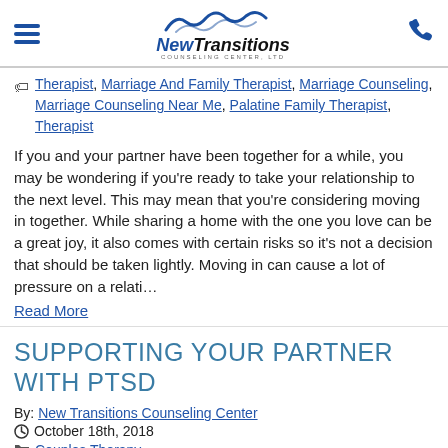New Transitions Counseling Center
Therapist, Marriage And Family Therapist, Marriage Counseling, Marriage Counseling Near Me, Palatine Family Therapist, Therapist
If you and your partner have been together for a while, you may be wondering if you're ready to take your relationship to the next level. This may mean that you're considering moving in together. While sharing a home with the one you love can be a great joy, it also comes with certain risks so it's not a decision that should be taken lightly. Moving in can cause a lot of pressure on a relati…
Read More
SUPPORTING YOUR PARTNER WITH PTSD
By: New Transitions Counseling Center
October 18th, 2018
Couples Therapy
Couple Therapy, Couples Therapy, Family Therapy, Find a Local Therapist, Marriage And Family Therapist, Marriage